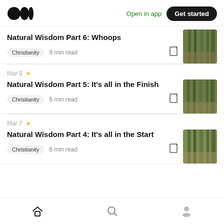Medium logo | Open in app | Get started
Natural Wisdom Part 6: Whoops
Christianity  8 min read
Mar 9 ★
Natural Wisdom Part 5: It's all in the Finish
Christianity  6 min read
Mar 7 ★
Natural Wisdom Part 4: It's all in the Start
Christianity  6 min read
Home | Search | Profile